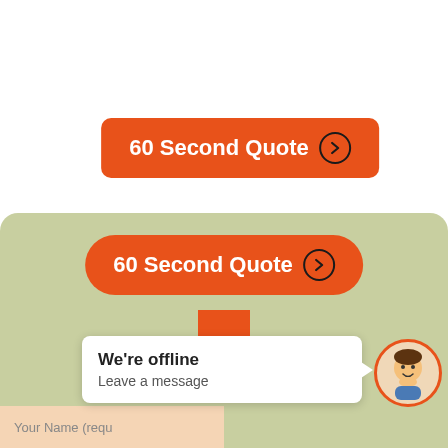[Figure (screenshot): Orange '60 Second Quote' button with right arrow circle, top of page]
[Figure (screenshot): Green rounded panel containing an orange '60 Second Quote' button with rounded pill shape, a large orange down arrow, a chat popup saying 'We're offline / Leave a message', a cartoon avatar in an orange-bordered circle, and a partially visible form field 'Your Name (requ...']